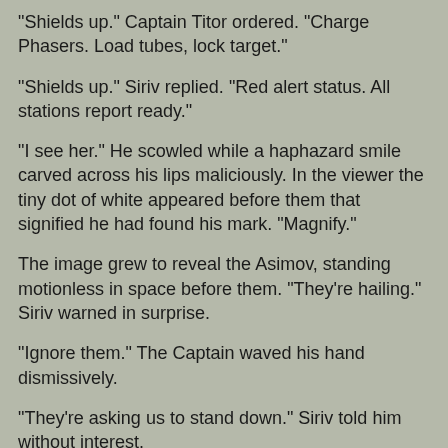"Shields up." Captain Titor ordered. "Charge Phasers. Load tubes, lock target."
"Shields up." Siriv replied. "Red alert status. All stations report ready."
"I see her." He scowled while a haphazard smile carved across his lips maliciously. In the viewer the tiny dot of white appeared before them that signified he had found his mark. "Magnify."
The image grew to reveal the Asimov, standing motionless in space before them. "They're hailing." Siriv warned in surprise.
"Ignore them." The Captain waved his hand dismissively.
"They're asking us to stand down." Siriv told him without interest.
"We're not here to accept their surrender." Captain Titor reminded his first officer. "We're here to complete our original orders and destroy that damn ship before it can do any more harm."